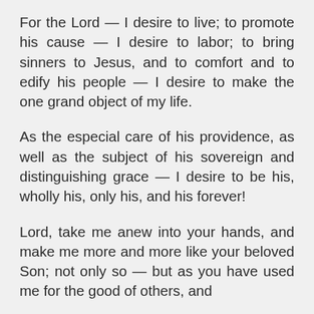For the Lord — I desire to live; to promote his cause — I desire to labor; to bring sinners to Jesus, and to comfort and to edify his people — I desire to make the one grand object of my life.
As the especial care of his providence, as well as the subject of his sovereign and distinguishing grace — I desire to be his, wholly his, only his, and his forever!
Lord, take me anew into your hands, and make me more and more like your beloved Son; not only so — but as you have used me for the good of others, and